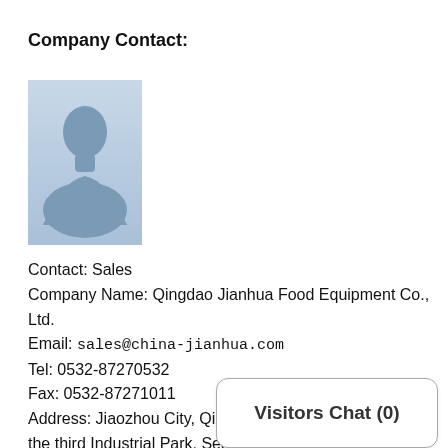Company Contact:
[Figure (photo): Generic person silhouette avatar placeholder image with light blue-grey background]
Contact: Sales
Company Name: Qingdao Jianhua Food Equipment Co., Ltd.
Email: sales@china-jianhua.com
Tel: 0532-87270532
Fax: 0532-87271011
Address: Jiaozhou City, Qingdao, Shandong Province, the third Industrial Park, Sea Camp, China
Website: http://www.china-jianh
Visitors Chat (0)